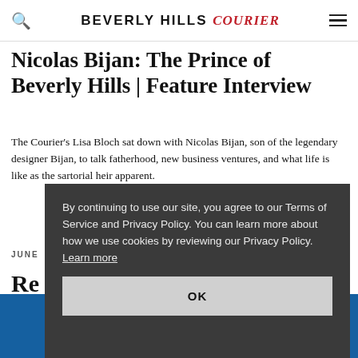BEVERLY HILLS Courier
Nicolas Bijan: The Prince of Beverly Hills | Feature Interview
The Courier's Lisa Bloch sat down with Nicolas Bijan, son of the legendary designer Bijan, to talk fatherhood, new business ventures, and what life is like as the sartorial heir apparent.
JUNE
Re
By continuing to use our site, you agree to our Terms of Service and Privacy Policy. You can learn more about how we use cookies by reviewing our Privacy Policy. Learn more
OK